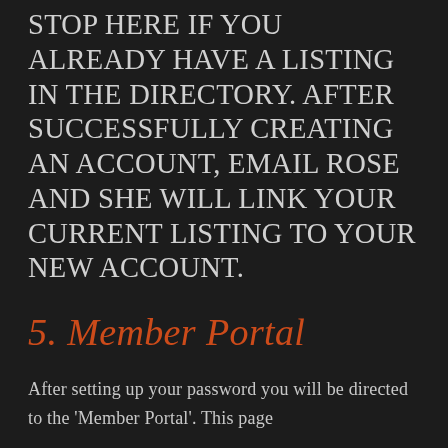STOP HERE IF YOU ALREADY HAVE A LISTING IN THE DIRECTORY. AFTER SUCCESSFULLY CREATING AN ACCOUNT, EMAIL ROSE AND SHE WILL LINK YOUR CURRENT LISTING TO YOUR NEW ACCOUNT.
5. Member Portal
After setting up your password you will be directed to the 'Member Portal'. This page